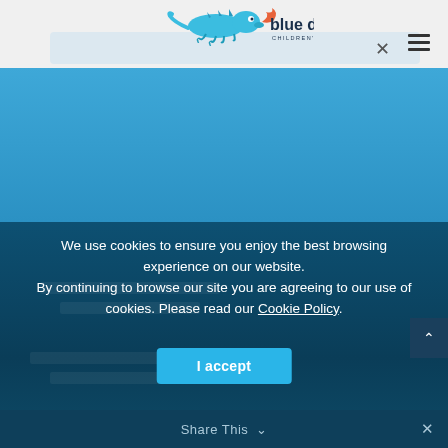blue dragon CHILDREN'S FOUNDATION
[Figure (screenshot): Blue hero banner area of the Blue Dragon Children's Foundation website]
We use cookies to ensure you enjoy the best browsing experience on our website. By continuing to browse our site you are agreeing to our use of cookies. Please read our Cookie Policy.
I accept
Share This ∨  ✕